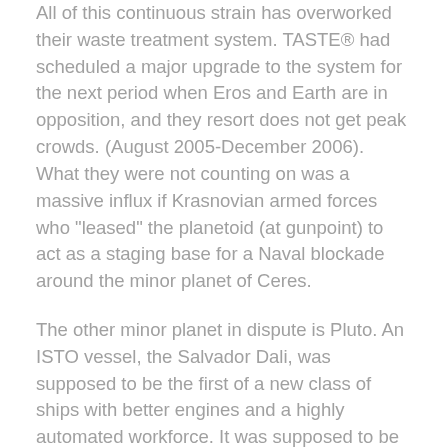All of this continuous strain has overworked their waste treatment system. TASTE® had scheduled a major upgrade to the system for the next period when Eros and Earth are in opposition, and they resort does not get peak crowds. (August 2005-December 2006). What they were not counting on was a massive influx if Krasnovian armed forces who "leased" the planetoid (at gunpoint) to act as a staging base for a Naval blockade around the minor planet of Ceres.
The other minor planet in dispute is Pluto. An ISTO vessel, the Salvador Dali, was supposed to be the first of a new class of ships with better engines and a highly automated workforce. It was supposed to be ready by the time Psyche was in the right place in it's orbit to launch a mission to Pluto. However, after some space trials the Dali's new systems turned out to be a disaster.
The Paul Cézanne is a 20 year old example of the prior